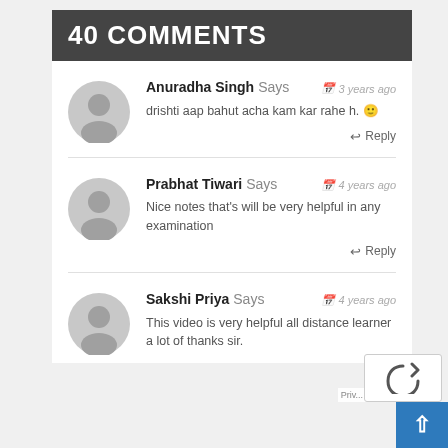40 COMMENTS
Anuradha Singh Says — 3 years ago
drishti aap bahut acha kam kar rahe h. 🙂
Prabhat Tiwari Says — 4 years ago
Nice notes that's will be very helpful in any examination
Sakshi Priya Says — 4 years ago
This video is very helpful all distance learner a lot of thanks sir.